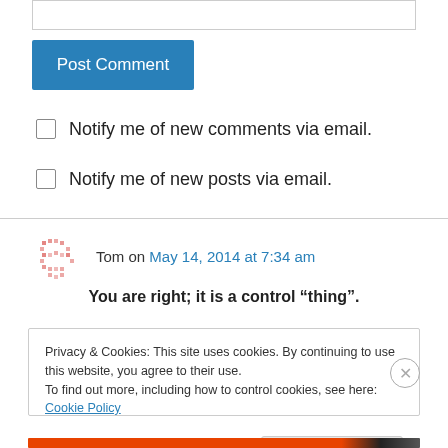[Figure (screenshot): Input text box at the top of the page]
Post Comment
Notify me of new comments via email.
Notify me of new posts via email.
Tom on May 14, 2014 at 7:34 am
You are right; it is a control “thing”.
Privacy & Cookies: This site uses cookies. By continuing to use this website, you agree to their use. To find out more, including how to control cookies, see here: Cookie Policy
Close and accept